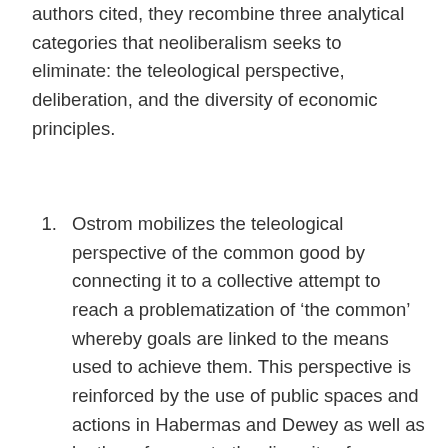authors cited, they recombine three analytical categories that neoliberalism seeks to eliminate: the teleological perspective, deliberation, and the diversity of economic principles.
Ostrom mobilizes the teleological perspective of the common good by connecting it to a collective attempt to reach a problematization of ‘the common’ whereby goals are linked to the means used to achieve them. This perspective is reinforced by the use of public spaces and actions in Habermas and Dewey as well as by the reference to the diversity of economic principles in Polanyi and Mauss.
Habermas focuses on the criticism to the relevance of the aggregative paradigm of individual preferences and substitutes it with